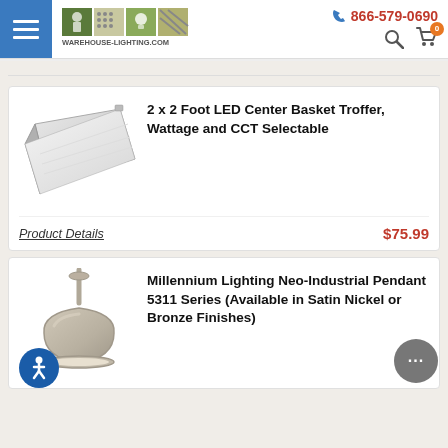warehouse-lighting.com | 866-579-0690
[Figure (photo): 2x2 foot LED center basket troffer lighting fixture, angled view showing white diffuser panel]
2 x 2 Foot LED Center Basket Troffer, Wattage and CCT Selectable
Product Details   $75.99
[Figure (photo): Millennium Lighting Neo-Industrial pendant light 5311 Series, brushed nickel finish, dome shade with rod mount]
Millennium Lighting Neo-Industrial Pendant 5311 Series (Available in Satin Nickel or Bronze Finishes)